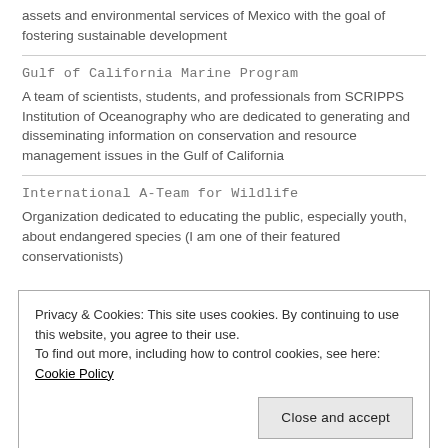assets and environmental services of Mexico with the goal of fostering sustainable development
Gulf of California Marine Program
A team of scientists, students, and professionals from SCRIPPS Institution of Oceanography who are dedicated to generating and disseminating information on conservation and resource management issues in the Gulf of California
International A-Team for Wildlife
Organization dedicated to educating the public, especially youth, about endangered species (I am one of their featured conservationists)
Privacy & Cookies: This site uses cookies. By continuing to use this website, you agree to their use.
To find out more, including how to control cookies, see here: Cookie Policy
Close and accept
issues